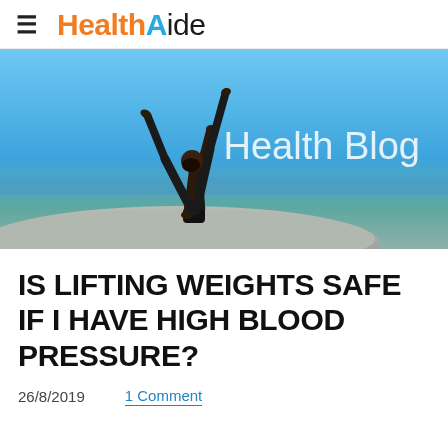HealthAide
[Figure (photo): Person performing a one-handed yoga/gymnastics pose on a rock with sea and blue sky in background. Text overlay reads 'Health Blog'.]
IS LIFTING WEIGHTS SAFE IF I HAVE HIGH BLOOD PRESSURE?
26/8/2019    1 Comment